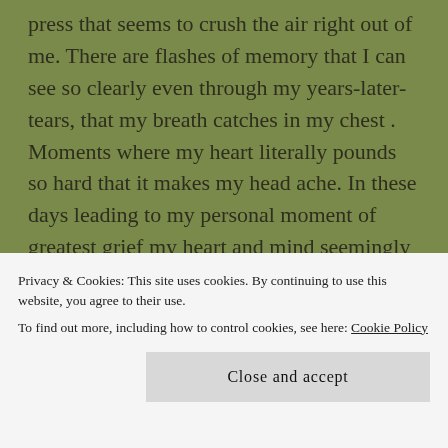press that seems to crush the air right out of me. There are flashes of memory that I can see so clearly even through my years-later-tears, that my breath catches in my chest . Moments where my heart literally pounds so hard that it makes my head ache. In these days leading to my personal moment of greatest grief my heart and mind seemingly shatter, and yet, as happened all of those years ago, the world screams to say; “carry on”.
There is no stopping. There is no chance to get off and sit on a bench while you catch your breath. When time
Privacy & Cookies: This site uses cookies. By continuing to use this website, you agree to their use.
To find out more, including how to control cookies, see here: Cookie Policy
Close and accept
the sun is still shining, the wind is still blowing, the